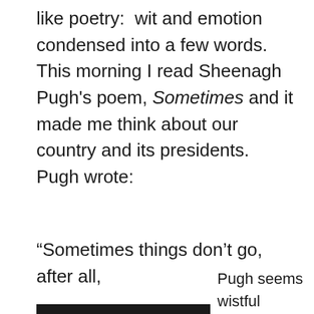like poetry:  wit and emotion condensed into a few words.  This morning I read Sheenagh Pugh's poem, Sometimes and it made me think about our country and its presidents.  Pugh wrote:
“Sometimes things don’t go, after all,

from bad to worse . . .

A people will sometimes step back from war;

elect an honest man, decide they care …”
Pugh seems wistful